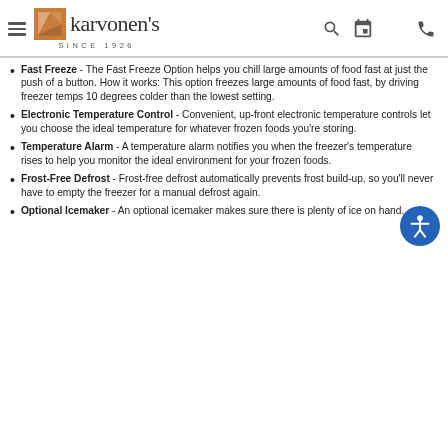Karvonen's Since 1926
Fast Freeze - The Fast Freeze Option helps you chill large amounts of food fast at just the push of a button. How it works: This option freezes large amounts of food fast, by driving freezer temps 10 degrees colder than the lowest setting.
Electronic Temperature Control - Convenient, up-front electronic temperature controls let you choose the ideal temperature for whatever frozen foods you're storing.
Temperature Alarm - A temperature alarm notifies you when the freezer's temperature rises to help you monitor the ideal environment for your frozen foods.
Frost-Free Defrost - Frost-free defrost automatically prevents frost build-up, so you'll never have to empty the freezer for a manual defrost again.
Optional Icemaker - An optional icemaker makes sure there is plenty of ice on hand.